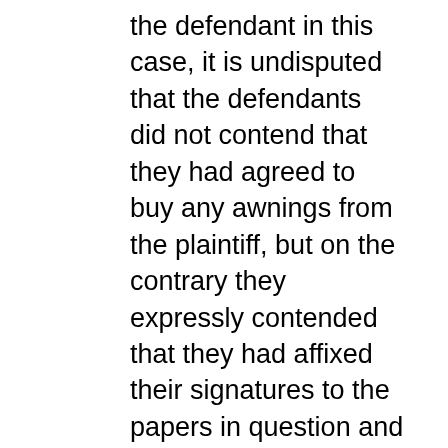the defendant in this case, it is undisputed that the defendants did not contend that they had agreed to buy any awnings from the plaintiff, but on the contrary they expressly contended that they had affixed their signatures to the papers in question and delivered them to the plaintiff's agent for delivery to the plaintiff only after they had examined the awnings installed by the plaintiff on the home of a friend, and then only if they decided after such inspection that the plaintiff's awnings were suitable for their home. Under the ruling in division 1 of this opinion, this was a valid defense which the defendants were entitled to have submitted to the jury